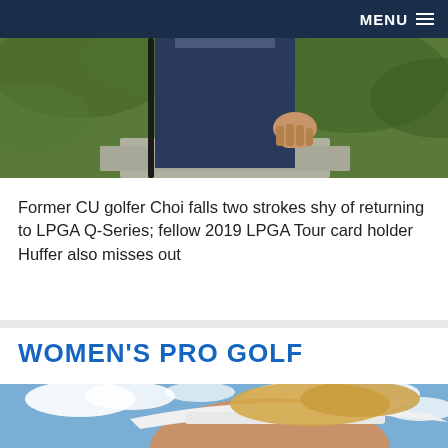MENU
[Figure (photo): Partial body shot of a golfer holding a golf club, wearing blue pants, standing near green foliage]
Former CU golfer Choi falls two strokes shy of returning to LPGA Q-Series; fellow 2019 LPGA Tour card holder Huffer also misses out
WOMEN'S PRO GOLF
[Figure (photo): Close-up photo of a blonde woman wearing a white visor, with a blue sky and clouds in the background]